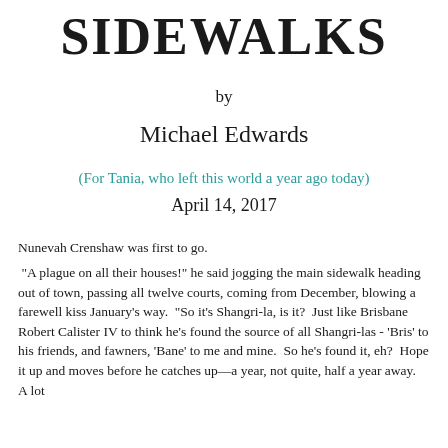SIDEWALKS
by
Michael Edwards
(For Tania, who left this world a year ago today)
April 14, 2017
Nunevah Crenshaw was first to go.
"A plague on all their houses!" he said jogging the main sidewalk heading out of town, passing all twelve courts, coming from December, blowing a farewell kiss January's way.  "So it's Shangri-la, is it?  Just like Brisbane Robert Calister IV to think he's found the source of all Shangri-las - 'Bris' to his friends, and fawners, 'Bane' to me and mine.  So he's found it, eh?  Hope it up and moves before he catches up—a year, not quite, half a year away.  A lot